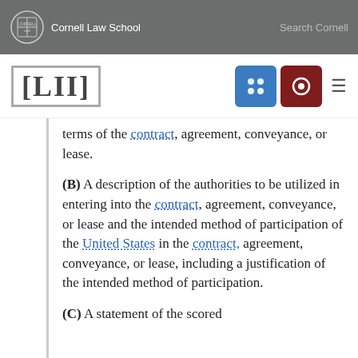Cornell Law School  Search Cornell
[Figure (logo): LII Legal Information Institute logo with navigation icons]
terms of the contract, agreement, conveyance, or lease.
(B) A description of the authorities to be utilized in entering into the contract, agreement, conveyance, or lease and the intended method of participation of the United States in the contract, agreement, conveyance, or lease, including a justification of the intended method of participation.
(C) A statement of the scored